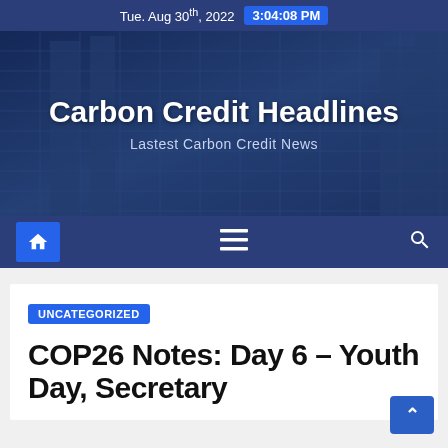Tue. Aug 30th, 2022   3:04:08 PM
Carbon Credit Headlines
Lastest Carbon Credit News
[Figure (illustration): Navigation bar with home icon, hamburger menu, and search icon on dark blue background]
UNCATEGORIZED
COP26 Notes: Day 6 – Youth Day, Secretary